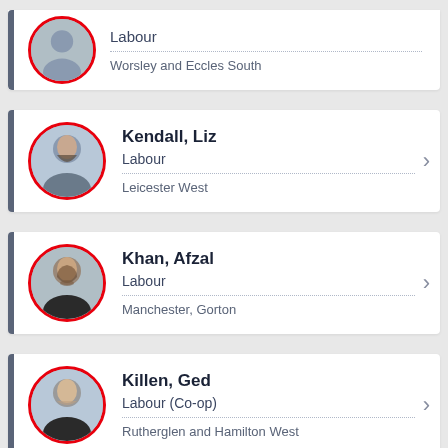Labour / Worsley and Eccles South
Kendall, Liz / Labour / Leicester West
Khan, Afzal / Labour / Manchester, Gorton
Killen, Ged / Labour (Co-op) / Rutherglen and Hamilton West